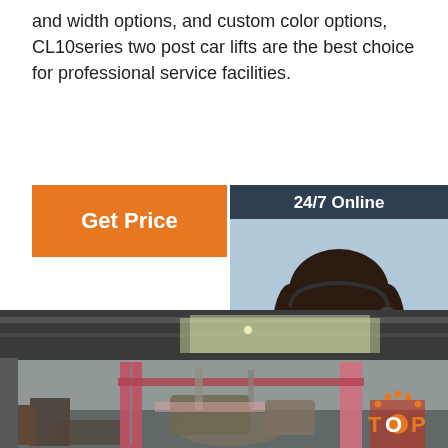and width options, and custom color options, CL10series two post car lifts are the best choice for professional service facilities.
[Figure (other): Orange 'Get Price' button]
[Figure (infographic): 24/7 Online sidebar with customer service representative photo, 'Click here for free chat!' text, and orange QUOTATION button]
[Figure (photo): Warehouse/factory interior showing two-post car lift equipment under construction with red/pink colored lift columns, industrial machinery, and large warehouse building interior]
[Figure (logo): TOP logo with orange dot-arc design in bottom right corner]